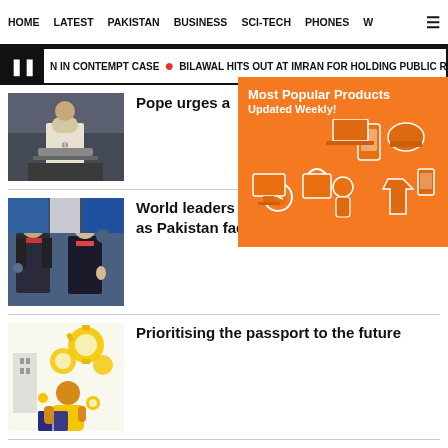HOME   LATEST   PAKISTAN   BUSINESS   SCI-TECH   PHONES   W
N IN CONTEMPT CASE   BILAWAL HITS OUT AT IMRAN FOR HOLDING PUBLIC RALLI
[Figure (photo): Pope speaking at a podium/microphone]
Pope urges a...
[Figure (illustration): Orange advertisement banner: Most Popular Products Updated Weekly! with product icons]
[Figure (photo): World leaders including Justin Trudeau and Emmanuel Macron]
World leaders send messages of support as Pakistan faces flash floods
[Figure (illustration): Illustration of a student reading a book with education icons]
Prioritising the passport to the future